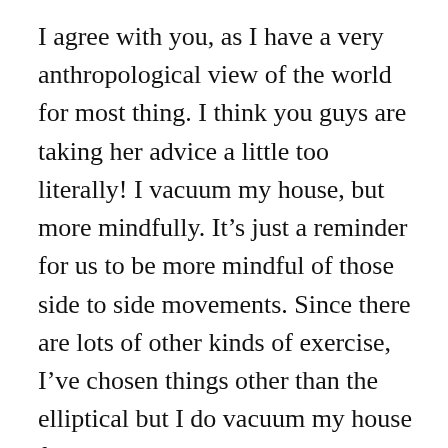I agree with you, as I have a very anthropological view of the world for most thing. I think you guys are taking her advice a little too literally! I vacuum my house, but more mindfully. It's just a reminder for us to be more mindful of those side to side movements. Since there are lots of other kinds of exercise, I've chosen things other than the elliptical but I do vacuum my house from time to time – just more straight than I used to. And we really don't know how women's activities over the years have affected labor. There could indeed be a negative correlation between sideways movements (like weeding) and difficulty in